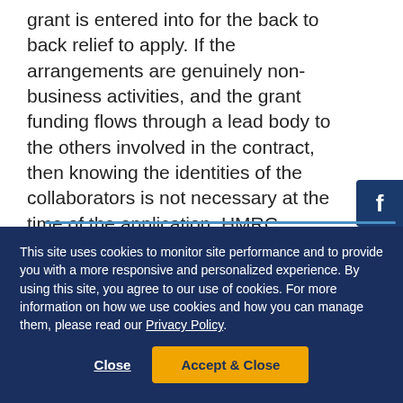grant is entered into for the back to back relief to apply. If the arrangements are genuinely non-business activities, and the grant funding flows through a lead body to the others involved in the contract, then knowing the identities of the collaborators is not necessary at the time of the application. HMRC states:
[Figure (logo): Facebook icon button - dark blue square with white 'f' letter]
This site uses cookies to monitor site performance and to provide you with a more responsive and personalized experience. By using this site, you agree to our use of cookies. For more information on how we use cookies and how you can manage them, please read our Privacy Policy.
Close | Accept & Close